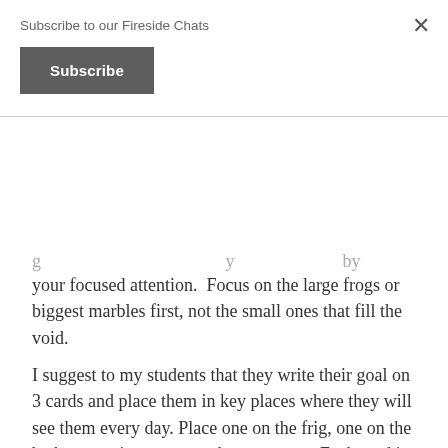[Figure (screenshot): Modal popup with 'Subscribe to our Fireside Chats' heading and a dark grey Subscribe button, with an X close button in the top right corner]
your focused attention.  Focus on the large frogs or biggest marbles first, not the small ones that fill the void.
I suggest to my students that they write their goal on 3 cards and place them in key places where they will see them every day. Place one on the frig, one on the bathroom mirror, one on the computer.  Each card is a visual reminder of the goal. It's to remind them to take a tiny step toward their goal every day.
Don't Procrastinate. This is easier said than done. Not really.  By doing the marble exercise and